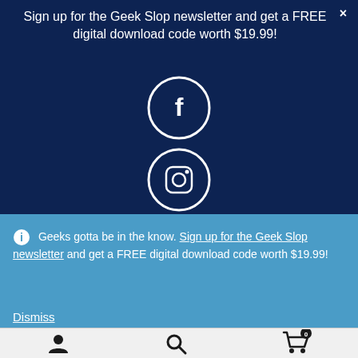Sign up for the Geek Slop newsletter and get a FREE digital download code worth $19.99!
[Figure (illustration): Four social media icons in white circles on dark blue background: Facebook, Instagram, Twitter, Pinterest arranged vertically]
Geeks gotta be in the know. Sign up for the Geek Slop newsletter and get a FREE digital download code worth $19.99!
Dismiss
[Figure (illustration): Footer bar with user icon, search icon, and shopping cart icon with badge showing 0]